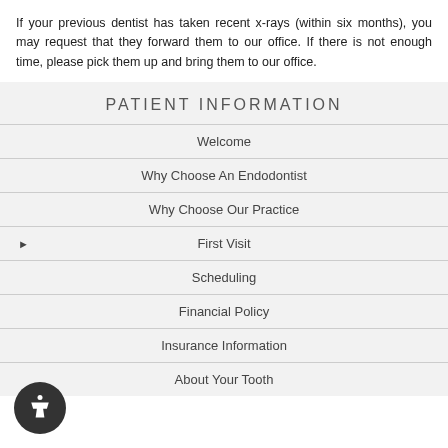If your previous dentist has taken recent x-rays (within six months), you may request that they forward them to our office. If there is not enough time, please pick them up and bring them to our office.
PATIENT INFORMATION
Welcome
Why Choose An Endodontist
Why Choose Our Practice
First Visit
Scheduling
Financial Policy
Insurance Information
About Your Tooth